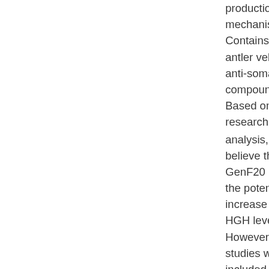production mechanism Contains D antler velve anti-somat compound Based on d research a analysis, w believe tha GenF20 Pl the potenti increase yo HGH levels However, a studies we included su ranging in and weight have to kn